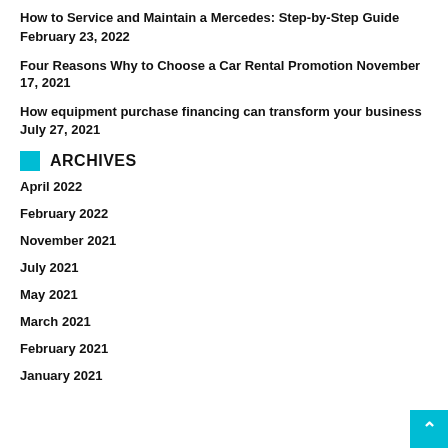How to Service and Maintain a Mercedes: Step-by-Step Guide
February 23, 2022
Four Reasons Why to Choose a Car Rental Promotion November 17, 2021
How equipment purchase financing can transform your business
July 27, 2021
ARCHIVES
April 2022
February 2022
November 2021
July 2021
May 2021
March 2021
February 2021
January 2021